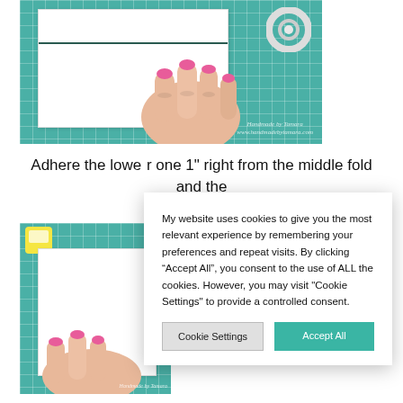[Figure (photo): Hands pressing white card/paper on a teal cutting mat, with a roll of tape visible. The card has a dark green line across it. Watermark reads 'Handmade by Tamara / www.handmadebytamara.com']
Adhere the lower one 1" right from the middle fold and the other o
[Figure (photo): Hands working with white card/paper on a teal cutting mat. A decorative sticker is visible in the top-left corner. Watermark reads 'Handmade by Tamara'.]
My website uses cookies to give you the most relevant experience by remembering your preferences and repeat visits. By clicking “Accept All”, you consent to the use of ALL the cookies. However, you may visit "Cookie Settings" to provide a controlled consent.
Cookie Settings
Accept All